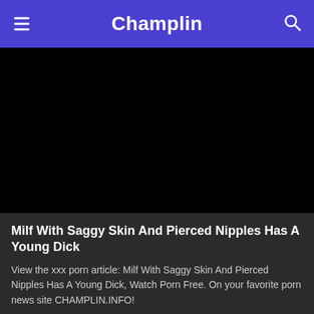Champlin
[Figure (photo): Black video player area]
Milf With Saggy Skin And Pierced Nipples Has A Young Dick
View the xxx porn article: Milf With Saggy Skin And Pierced Nipples Has A Young Dick, Watch Porn Free. On your favorite porn news site CHAMPLIN.INFO!
5 Views · Likes 0
Popular searches